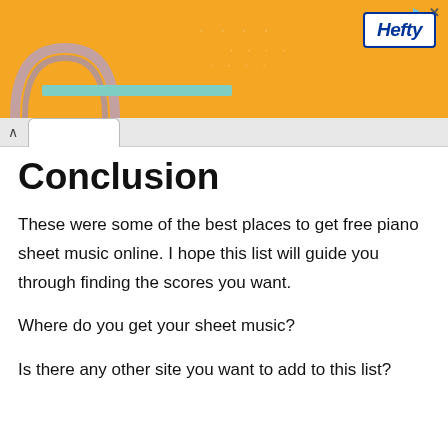[Figure (other): Orange advertisement banner for Hefty brand with teal bar decoration and arch graphic at bottom left, with close/play icons at top right]
Conclusion
These were some of the best places to get free piano sheet music online. I hope this list will guide you through finding the scores you want.
Where do you get your sheet music?
Is there any other site you want to add to this list?